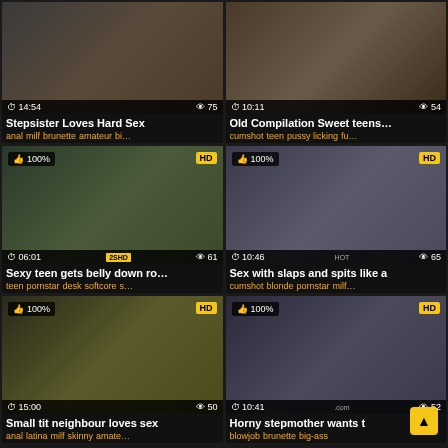[Figure (photo): Video thumbnail grid item 1 - Stepsister Loves Hard Sex, duration 14:54, views 75]
Stepsister Loves Hard Sex
anal milf brunette amateur bi...
[Figure (photo): Video thumbnail grid item 2 - Old Compilation Sweet teens..., duration 10:11, views 54]
Old Compilation Sweet teens...
cumshot teen pussy licking fu...
[Figure (photo): Video thumbnail grid item 3 - Sexy teen gets belly down ro..., 100% rating, HD, duration 06:01, views 61, 2SHD badge]
Sexy teen gets belly down ro...
teen pornstar desk softcore s...
[Figure (photo): Video thumbnail grid item 4 - Sex with slaps and spits like a, 100% rating, HD, HOT badge, duration 10:46, views 65]
Sex with slaps and spits like a
cumshot blonde pornstar milf...
[Figure (photo): Video thumbnail grid item 5 - Small tit neighbour loves sex, 100% rating, HD, duration 15:00, views 50]
Small tit neighbour loves sex
anal latina milf skinny amate...
[Figure (photo): Video thumbnail grid item 6 - Horny stepmother wants t, 100% rating, HD, duration 10:41, views 52]
Horny stepmother wants t
blowjob brunette big-ass